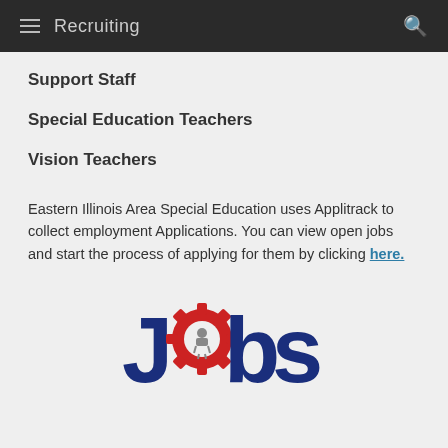Recruiting
Support Staff
Special Education Teachers
Vision Teachers
Eastern Illinois Area Special Education uses Applitrack to collect employment Applications. You can view open jobs and start the process of applying for them by clicking here.
[Figure (logo): Jobs logo with a gear replacing the letter 'o', featuring a worker figure inside the gear. Text reads 'Jobs' in bold dark blue with red gear graphic.]